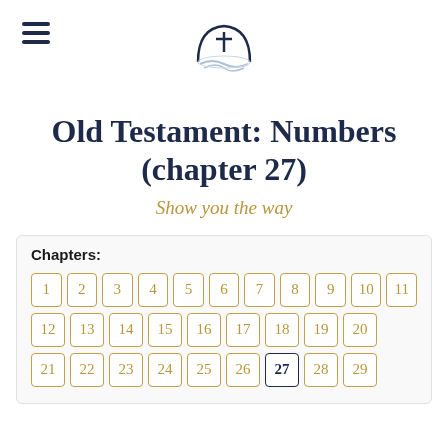[Figure (logo): Hamburger menu icon (three horizontal lines) on the left and a religious logo (cross with open book and waves) centered at the top]
Old Testament: Numbers (chapter 27)
Show you the way
Chapters:
1, 2, 3, 4, 5, 6, 7, 8, 9, 10, 11
12, 13, 14, 15, 16, 17, 18, 19, 20
21, 22, 23, 24, 25, 26, 27 (current), 28, 29